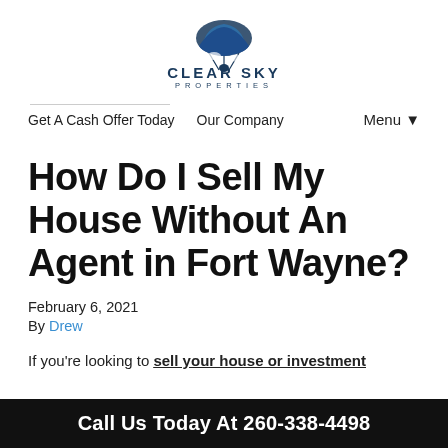[Figure (logo): Clear Sky Properties logo with parachute icon and text]
Get A Cash Offer Today   Our Company   Menu ▼
How Do I Sell My House Without An Agent in Fort Wayne?
February 6, 2021
By Drew
If you're looking to sell your house or investment
Call Us Today At 260-338-4498